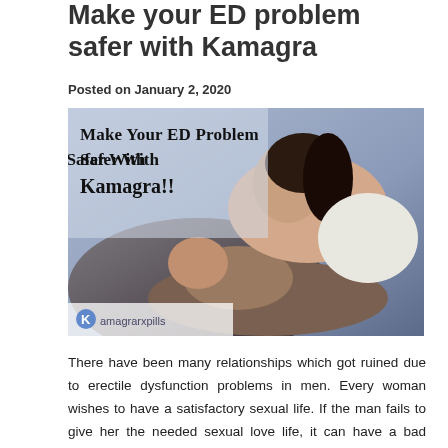Make your ED problem safer with Kamagra
Posted on January 2, 2020
[Figure (photo): Promotional photo of a couple in an intimate setting with text overlay reading 'Make Your ED Problem Safer With Kamagra!!' and the Kamagrarxpills logo in the bottom left corner.]
There have been many relationships which got ruined due to erectile dysfunction problems in men. Every woman wishes to have a satisfactory sexual life. If the man fails to give her the needed sexual love life, it can have a bad impact on the relationship they have. Though the problem is curable with the